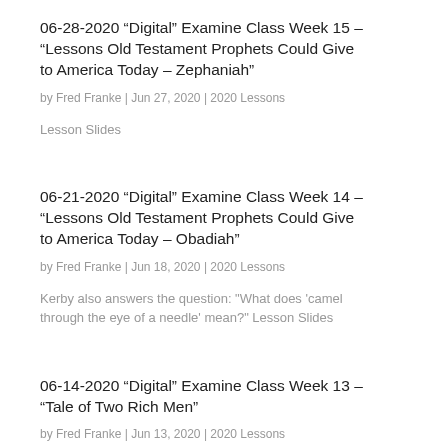06-28-2020 “Digital” Examine Class Week 15 – “Lessons Old Testament Prophets Could Give to America Today – Zephaniah”
by Fred Franke | Jun 27, 2020 | 2020 Lessons
Lesson Slides
06-21-2020 “Digital” Examine Class Week 14 – “Lessons Old Testament Prophets Could Give to America Today – Obadiah”
by Fred Franke | Jun 18, 2020 | 2020 Lessons
Kerby also answers the question: "What does 'camel through the eye of a needle' mean?" Lesson Slides
06-14-2020 “Digital” Examine Class Week 13 – “Tale of Two Rich Men”
by Fred Franke | Jun 13, 2020 | 2020 Lessons
Kerby also discusses the life of William Borden Lesson Slides